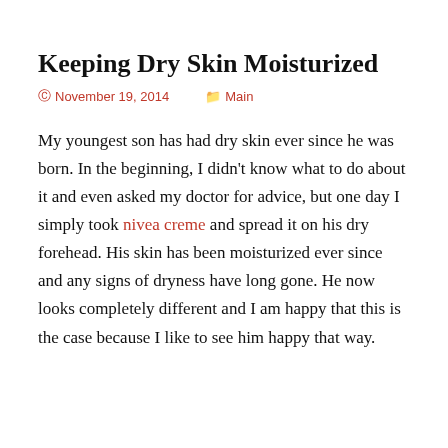Keeping Dry Skin Moisturized
November 19, 2014    Main
My youngest son has had dry skin ever since he was born. In the beginning, I didn't know what to do about it and even asked my doctor for advice, but one day I simply took nivea creme and spread it on his dry forehead. His skin has been moisturized ever since and any signs of dryness have long gone. He now looks completely different and I am happy that this is the case because I like to see him happy that way.